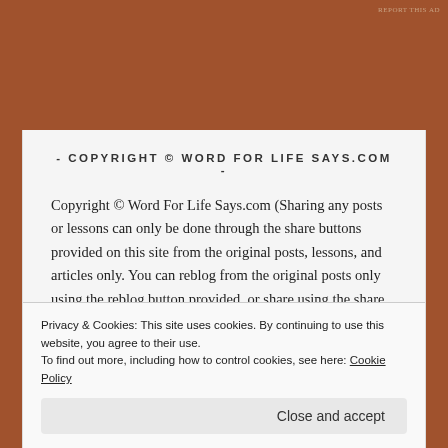REPORT THIS AD
- COPYRIGHT © WORD FOR LIFE SAYS.COM -
Copyright © Word For Life Says.com (Sharing any posts or lessons can only be done through the share buttons provided on this site from the original posts, lessons, and articles only. You can reblog from the original posts only using the reblog button provided, or share using the share buttons provided from these social media platforms: Facebook, Twitter, or Pinterest, etc., and they must be shared from the original posts only. All other repostings are
Privacy & Cookies: This site uses cookies. By continuing to use this website, you agree to their use.
To find out more, including how to control cookies, see here: Cookie Policy
Close and accept